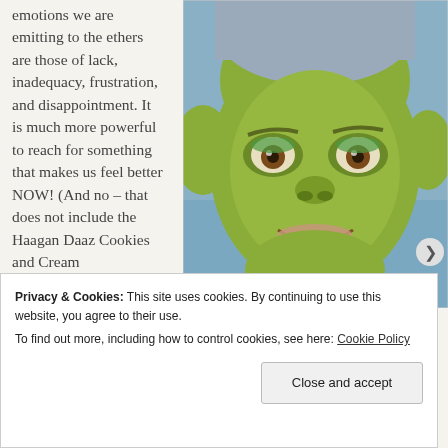emotions we are emitting to the ethers are those of lack, inadequacy, frustration, and disappointment. It is much more powerful to reach for something that makes us feel better NOW! (And no – that does not include the Haagan Daaz Cookies and Cream
[Figure (photo): Close-up photo of a person with green face paint/makeup resembling Shrek's Princess Fiona character, with blue/gray hair, smiling at the camera]
Privacy & Cookies: This site uses cookies. By continuing to use this website, you agree to their use.
To find out more, including how to control cookies, see here: Cookie Policy
Close and accept